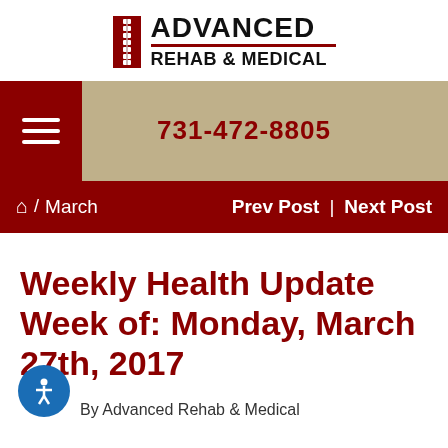[Figure (logo): Advanced Rehab & Medical logo with spine icon and bold text]
731-472-8805
Home / March   Prev Post | Next Post
Weekly Health Update Week of: Monday, March 27th, 2017
By Advanced Rehab & Medical